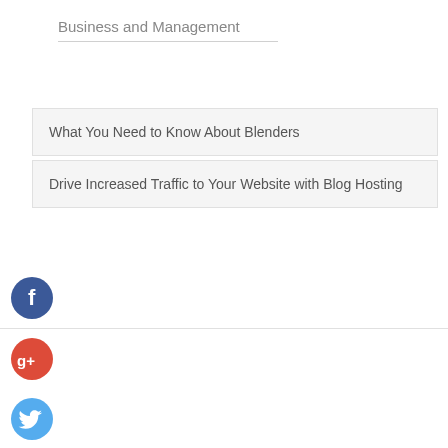Business and Management
What You Need to Know About Blenders
Drive Increased Traffic to Your Website with Blog Hosting
[Figure (infographic): Social media sharing buttons: Facebook (blue circle with 'f'), Google+ (red circle with 'g+'), Twitter (light blue circle with bird icon), and a dark blue circle with '+' icon, arranged vertically with a horizontal divider line between Facebook and Google+.]